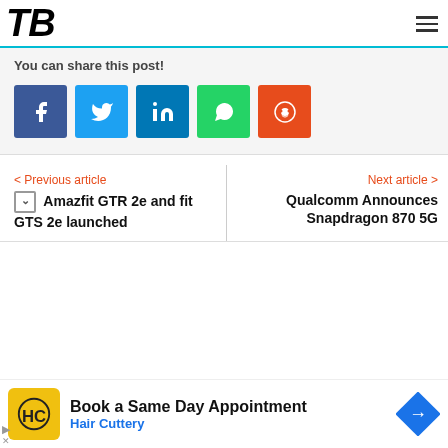TB
You can share this post!
[Figure (infographic): Row of five social share buttons: Facebook (blue), Twitter (light blue), LinkedIn (dark blue), WhatsApp (green), Reddit (orange-red), each with white icon]
< Previous article
Amazfit GTR 2e and fit GTS 2e launched
Next article >
Qualcomm Announces Snapdragon 870 5G
[Figure (infographic): Advertisement banner: Hair Cuttery logo (yellow square with HC), 'Book a Same Day Appointment', 'Hair Cuttery' in blue, navigation arrow icon]